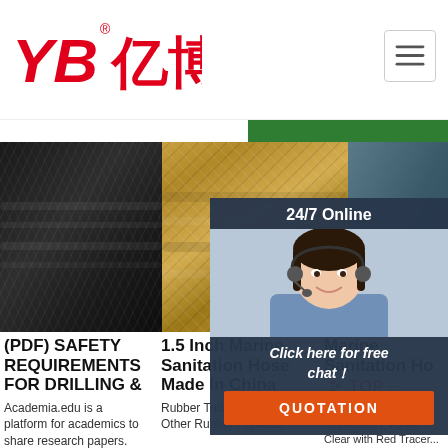[Figure (logo): YB亿博 logo in red with registered trademark symbol]
[Figure (screenshot): Hamburger menu button in top right corner]
[Figure (photo): Three product photos: black braided hose, gold/bronze braided hose, and partial view of another hose]
[Figure (infographic): 24/7 Online chat widget with agent photo and QUOTATION button]
(PDF) SAFETY REQUIREMENTS FOR DRILLING &
Academia.edu is a platform for academics to share research papers.
1.5 Inch Marine Sanitation Hose Made In China
Rubber Tube, Pipe & Hose, Other Rubber Products
Marine Sanitation Ho...
1 1/8' ID Series 162 Reinforced PVC All Clear with Red Tracer... 110-05-0340S Poly X Sanitation Hose 3/4' ID 50'... West